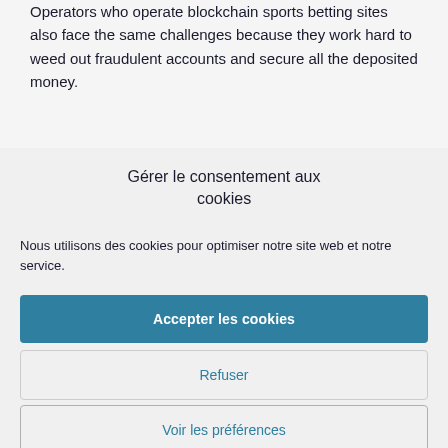Operators who operate blockchain sports betting sites also face the same challenges because they work hard to weed out fraudulent accounts and secure all the deposited money.
Gérer le consentement aux cookies
Nous utilisons des cookies pour optimiser notre site web et notre service.
Accepter les cookies
Refuser
Voir les préférences